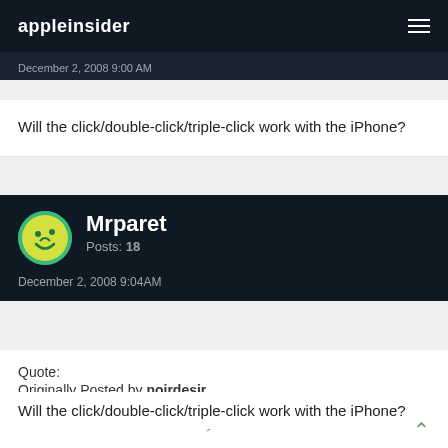appleinsider
December 2, 2008 9:00 AM
Will the click/double-click/triple-click work with the iPhone?
Mrparet
Posts: 18
December 2, 2008 9:04AM
Quote:
Originally Posted by noirdesir
Will the click/double-click/triple-click work with the iPhone?